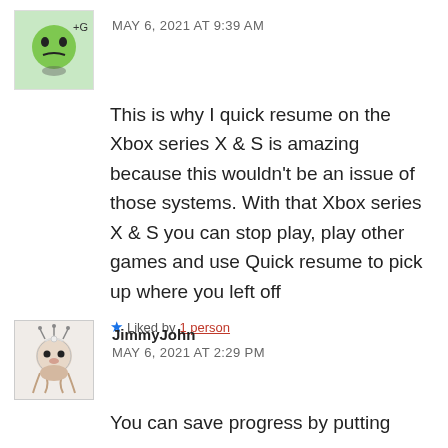[Figure (illustration): Green cartoon avatar with angry face]
MAY 6, 2021 AT 9:39 AM
This is why I quick resume on the Xbox series X & S is amazing because this wouldn't be an issue of those systems. With that Xbox series X & S you can stop play, play other games and use Quick resume to pick up where you left off
★ Liked by 1 person
[Figure (illustration): Cartoon character avatar for JimmyJohn]
JimmyJohn
MAY 6, 2021 AT 2:29 PM
You can save progress by putting